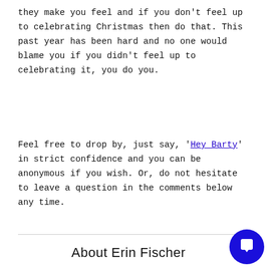they make you feel and if you don't feel up to celebrating Christmas then do that. This past year has been hard and no one would blame you if you didn't feel up to celebrating it, you do you.
Feel free to drop by, just say, 'Hey Barty' in strict confidence and you can be anonymous if you wish. Or, do not hesitate to leave a question in the comments below any time.
About Erin Fischer
Am the qualified mental health professional at Barty Single